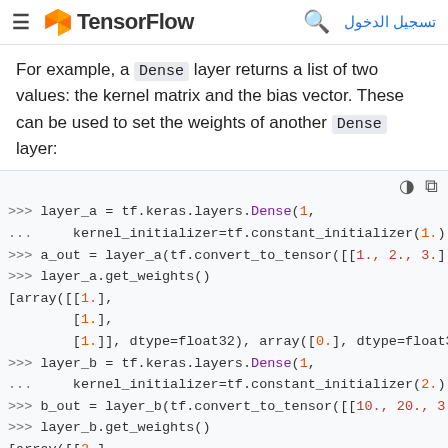TensorFlow — تسجيل الدخول
For example, a Dense layer returns a list of two values: the kernel matrix and the bias vector. These can be used to set the weights of another Dense layer:
[Figure (screenshot): Python interactive code block showing TensorFlow/Keras Dense layer weight operations with >>> prompts, showing layer_a and layer_b creation with constant_initializer, get_weights output with arrays of float32 values.]